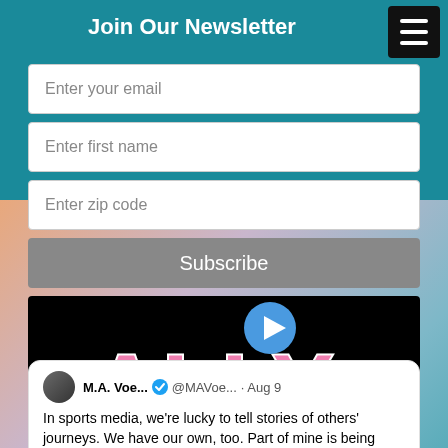Join Our Newsletter
Enter your email
Enter first name
Enter zip code
Subscribe
[Figure (illustration): ALLY text logo in pink with cyan shadow on black background, with a blue play button circle icon above]
M.A. Voe... @MAVoe... · Aug 9
In sports media, we're lucky to tell stories of others' journeys. We have our own, too. Part of mine is being